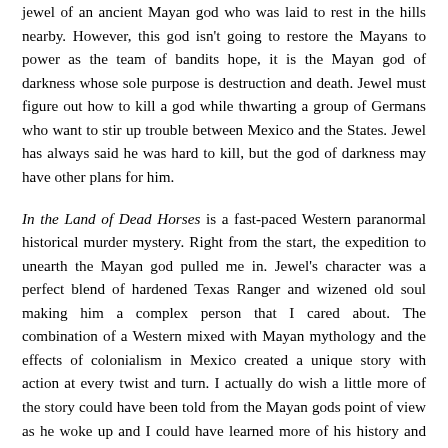jewel of an ancient Mayan god who was laid to rest in the hills nearby. However, this god isn't going to restore the Mayans to power as the team of bandits hope, it is the Mayan god of darkness whose sole purpose is destruction and death. Jewel must figure out how to kill a god while thwarting a group of Germans who want to stir up trouble between Mexico and the States. Jewel has always said he was hard to kill, but the god of darkness may have other plans for him.
In the Land of Dead Horses is a fast-paced Western paranormal historical murder mystery. Right from the start, the expedition to unearth the Mayan god pulled me in. Jewel's character was a perfect blend of hardened Texas Ranger and wizened old soul making him a complex person that I cared about. The combination of a Western mixed with Mayan mythology and the effects of colonialism in Mexico created a unique story with action at every twist and turn. I actually do wish a little more of the story could have been told from the Mayan gods point of view as he woke up and I could have learned more of his history and importance to the Mayans. The addition of the meddling Germans along with an old foe of Jewel's determined to kill him added to the suspense. Filled with gore, mystery, ancient gods and a surprising amount of heart, In The Land of Dead Horses is a